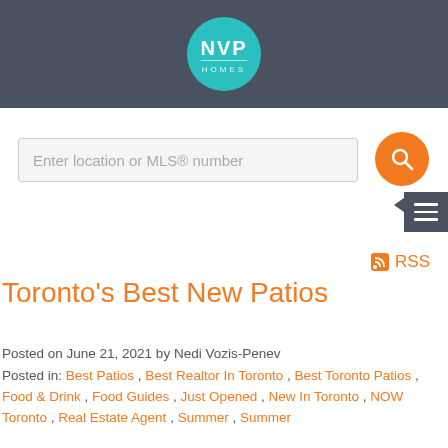[Figure (logo): NVP Homes logo — teal circle with white text NVP and thin HOMES lettering below, on dark grey header background]
[Figure (screenshot): Search input field with placeholder text 'Enter location or MLS® number' and orange circular search button with magnifying glass icon]
[Figure (other): Dark grey hamburger menu icon with left-pointing arrow on right edge]
RSS
Toronto's Best New Patios
Posted on June 21, 2021 by Nedi Vozis-Penev
Posted in: Best Patios , Best Realtor In Toronto , Best Toronto Patios , Food & Drink , Food Guides , Just Opened , New In Toronto , NOW Toronto , Real Estate Agent , Summer , Summer